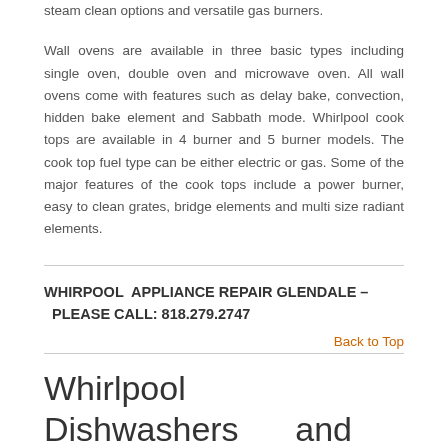steam clean options and versatile gas burners.

Wall ovens are available in three basic types including single oven, double oven and microwave oven. All wall ovens come with features such as delay bake, convection, hidden bake element and Sabbath mode. Whirlpool cook tops are available in 4 burner and 5 burner models. The cook top fuel type can be either electric or gas. Some of the major features of the cook tops include a power burner, easy to clean grates, bridge elements and multi size radiant elements.
WHIRPOOL  APPLIANCE REPAIR GLENDALE – PLEASE CALL: 818.279.2747
Back to Top
Whirlpool Dishwashers and Cleaning
Whirlpool dishwashers are available in three different...